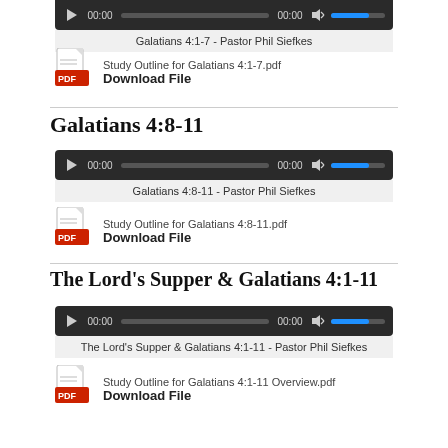[Figure (other): Audio player for Galatians 4:1-7 (top, partially visible)]
Galatians 4:1-7 - Pastor Phil Siefkes
[Figure (other): PDF icon for Study Outline for Galatians 4:1-7.pdf]
Study Outline for Galatians 4:1-7.pdf
Download File
Galatians 4:8-11
[Figure (other): Audio player for Galatians 4:8-11]
Galatians 4:8-11 - Pastor Phil Siefkes
[Figure (other): PDF icon for Study Outline for Galatians 4:8-11.pdf]
Study Outline for Galatians 4:8-11.pdf
Download File
The Lord's Supper & Galatians 4:1-11
[Figure (other): Audio player for The Lord's Supper & Galatians 4:1-11]
The Lord's Supper & Galatians 4:1-11 - Pastor Phil Siefkes
[Figure (other): PDF icon for Study Outline for Galatians 4:1-11 Overview.pdf]
Study Outline for Galatians 4:1-11 Overview.pdf
Download File